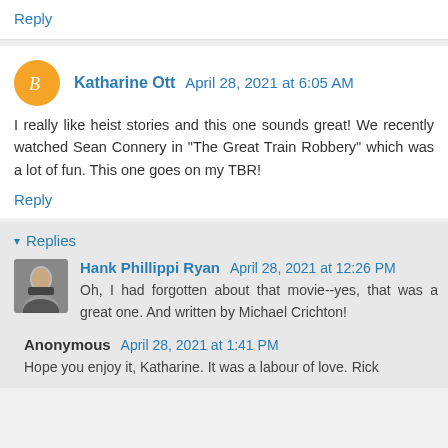Reply
Katharine Ott  April 28, 2021 at 6:05 AM
I really like heist stories and this one sounds great! We recently watched Sean Connery in "The Great Train Robbery" which was a lot of fun. This one goes on my TBR!
Reply
Replies
Hank Phillippi Ryan  April 28, 2021 at 12:26 PM
Oh, I had forgotten about that movie--yes, that was a great one. And written by Michael Crichton!
Anonymous  April 28, 2021 at 1:41 PM
Hope you enjoy it, Katharine. It was a labour of love. Rick